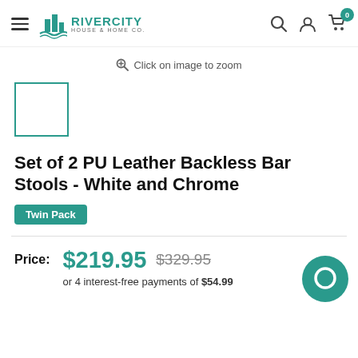River City House & Home Co. - navigation header with logo, search, account, cart
Click on image to zoom
[Figure (photo): Small white square thumbnail placeholder with teal border]
Set of 2 PU Leather Backless Bar Stools - White and Chrome
Twin Pack
Price: $219.95  $329.95  or 4 interest-free payments of $54.99